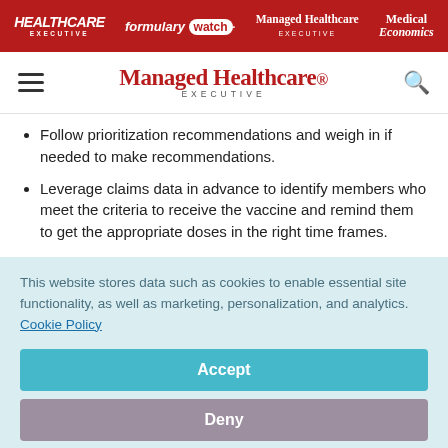HEALTHCARE EXECUTIVE | formulary watch | Managed Healthcare EXECUTIVE | Medical Economics
[Figure (logo): Managed Healthcare Executive logo in red serif font with EXECUTIVE subtitle]
Follow prioritization recommendations and weigh in if needed to make recommendations.
Leverage claims data in advance to identify members who meet the criteria to receive the vaccine and remind them to get the appropriate doses in the right time frames.
This website stores data such as cookies to enable essential site functionality, as well as marketing, personalization, and analytics. Cookie Policy
Accept
Deny